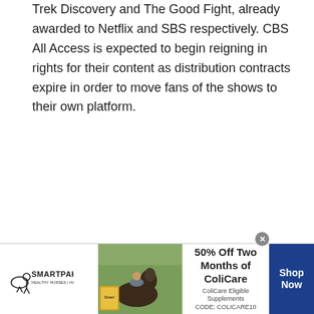Trek Discovery and The Good Fight, already awarded to Netflix and SBS respectively. CBS All Access is expected to begin reigning in rights for their content as distribution contracts expire in order to move fans of the shows to their own platform.
[Figure (other): SmartPak advertisement banner with logo, horse and rider photo, '50% Off Two Months of ColiCare' offer with code COLICARE10, and 'Shop Now' button]